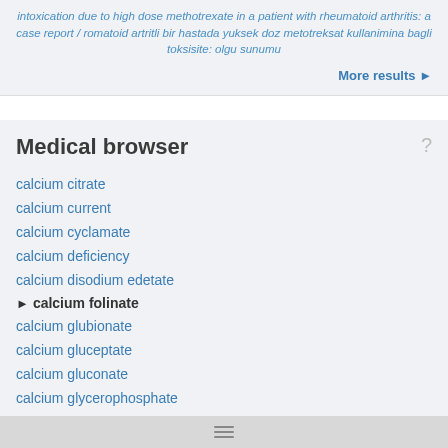intoxication due to high dose methotrexate in a patient with rheumatoid arthritis: a case report / romatoid artritli bir hastada yuksek doz metotreksat kullanimina bagli toksisite: olgu sunumu
More results ►
Medical browser
calcium citrate
calcium current
calcium cyclamate
calcium deficiency
calcium disodium edetate
► calcium folinate
calcium glubionate
calcium gluceptate
calcium gluconate
calcium glycerophosphate
calcium group
calcium hunger